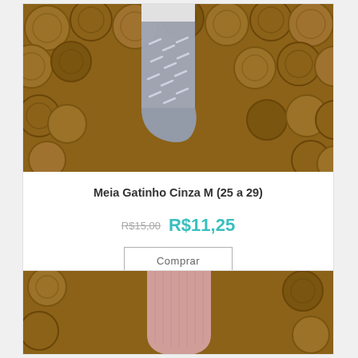[Figure (photo): Gray patterned children's sock displayed against a background of round wooden logs. Sock is gray with small white dash marks.]
Meia Gatinho Cinza M (25 a 29)
R$15,00  R$11,25
Comprar
[Figure (photo): Pink/rose colored sock displayed against wooden background, partially visible at bottom of page.]